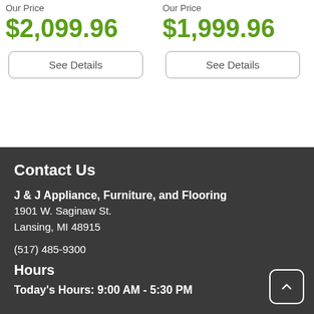Our Price
$2,099.96
See Details
Our Price
$1,999.96
See Details
Contact Us
J & J Appliance, Furniture, and Flooring
1901 W. Saginaw St.
Lansing, MI 48915
(517) 485-9300
Hours
Today's Hours: 9:00 AM - 5:30 PM